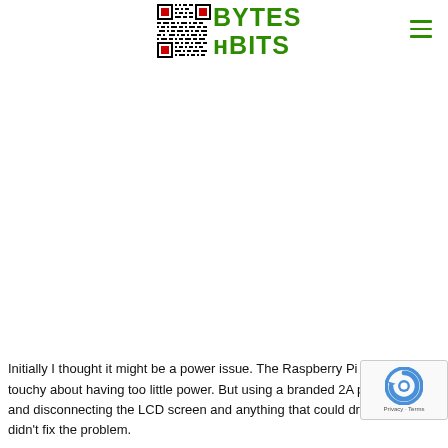BYTES nBITS logo with QR code and hamburger menu
Initially I thought it might be a power issue. The Raspberry Pi can be touchy about having too little power. But using a branded 2A power supply and disconnecting the LCD screen and anything that could draw power didn't fix the problem.